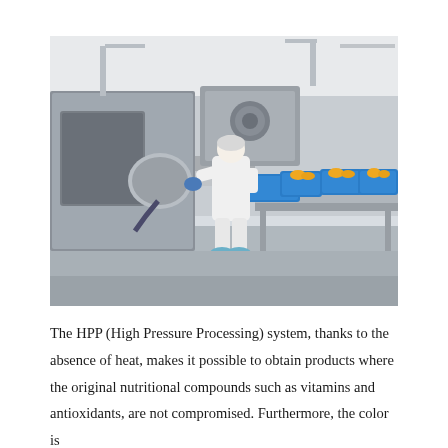[Figure (photo): Industrial HPP (High Pressure Processing) food production facility. A worker in full white protective suit, hairnet, and blue gloves handles a blue bin on a stainless steel conveyor line. Blue bins containing yellow/orange food pieces (likely mangoes or similar fruit) are visible on the conveyor. Large stainless steel HPP pressure vessels are on the left side. The facility has white walls and ceiling with industrial piping.]
The HPP (High Pressure Processing) system, thanks to the absence of heat, makes it possible to obtain products where the original nutritional compounds such as vitamins and antioxidants, are not compromised. Furthermore, the color is